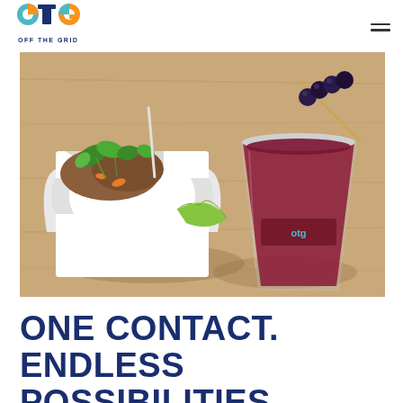[Figure (logo): Off The Grid (OTG) logo — colorful circular icon with letters o, t, g and text 'OFF THE GRID' below]
[Figure (photo): Food photo showing a white takeout box with Asian food garnished with cilantro and vegetables, next to a clear plastic cup with dark red/berry drink garnished with a lime wedge and blueberries on a skewer, placed on a wooden table surface. Cup has OTG branding.]
ONE CONTACT. ENDLESS POSSIBILITIES.